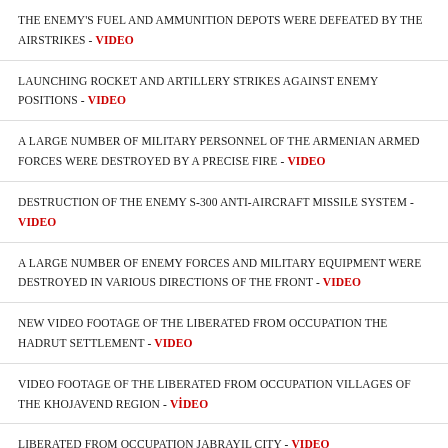THE ENEMY'S FUEL AND AMMUNITION DEPOTS WERE DEFEATED BY THE AIRSTRIKES - VIDEO
LAUNCHING ROCKET AND ARTILLERY STRIKES AGAINST ENEMY POSITIONS - VIDEO
A LARGE NUMBER OF MILITARY PERSONNEL OF THE ARMENIAN ARMED FORCES WERE DESTROYED BY A PRECISE FIRE - VIDEO
DESTRUCTION OF THE ENEMY S-300 ANTI-AIRCRAFT MISSILE SYSTEM - VIDEO
A LARGE NUMBER OF ENEMY FORCES AND MILITARY EQUIPMENT WERE DESTROYED IN VARIOUS DIRECTIONS OF THE FRONT - VIDEO
NEW VIDEO FOOTAGE OF THE LIBERATED FROM OCCUPATION THE HADRUT SETTLEMENT - VIDEO
VIDEO FOOTAGE OF THE LIBERATED FROM OCCUPATION VILLAGES OF THE KHOJAVEND REGION - VIDEO
LIBERATED FROM OCCUPATION JABRAYIL CITY - VIDEO